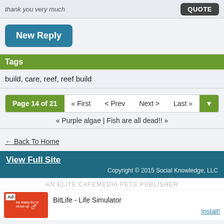thank you very much
QUOTE
New Reply
Tags
build, care, reef, reef build
Page 14 of 21  « First  < Prev  Next >  Last »
« Purple algae | Fish are all dead!! »
← Back To Home
View Full Site
Copyright © 2015 Social Knowledge, LLC
AN ELITE CAFEMEDIA PETS PUBLISHER
BitLife - Life Simulator
Install!